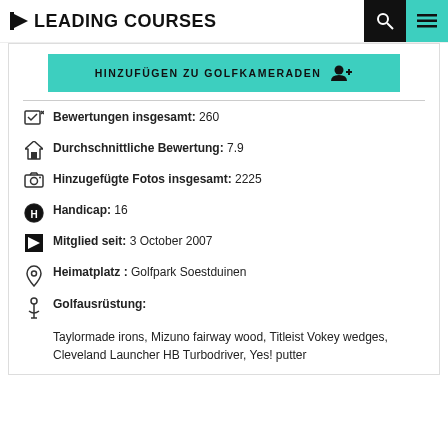LEADING COURSES
[Figure (screenshot): Teal button: HINZUFÜGEN ZU GOLFKAMERADEN with add-person icon]
Bewertungen insgesamt: 260
Durchschnittliche Bewertung: 7.9
Hinzugefügte Fotos insgesamt: 2225
Handicap: 16
Mitglied seit: 3 October 2007
Heimatplatz: Golfpark Soestduinen
Golfausrüstung: Taylormade irons, Mizuno fairway wood, Titleist Vokey wedges, Cleveland Launcher HB Turbodriver, Yes! putter